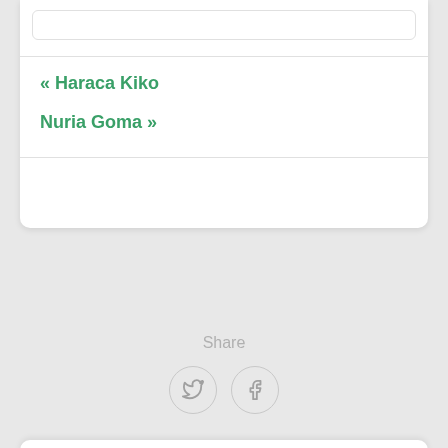« Haraca Kiko
Nuria Goma »
Share